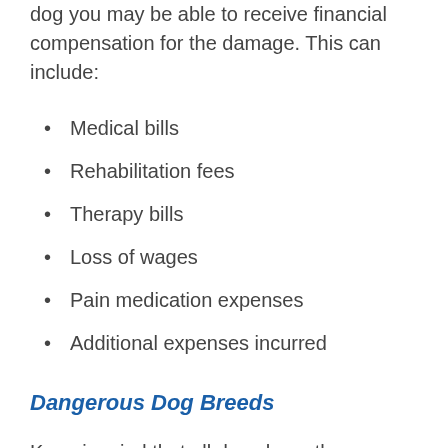dog you may be able to receive financial compensation for the damage. This can include:
Medical bills
Rehabilitation fees
Therapy bills
Loss of wages
Pain medication expenses
Additional expenses incurred
Dangerous Dog Breeds
Keep in mind that all dogs have the potential to be dangerous. Most dogs will attack or bite someone if they are provoked, feel threatened or feel the need to protect their owner or their home. Dogs are very loyal and territorial which